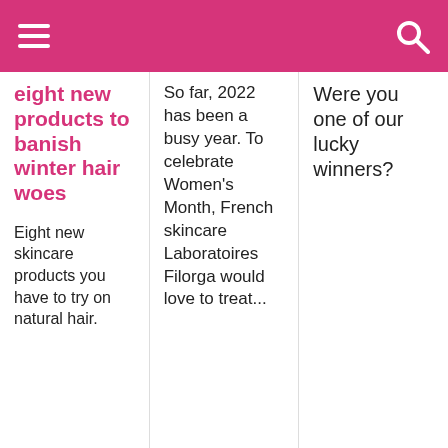eight new products to banish winter hair woes
Eight new skincare products you have to try on natural hair.
So far, 2022 has been a busy year. To celebrate Women's Month, French skincare Laboratoires Filorga would love to treat...
Were you one of our lucky winners?